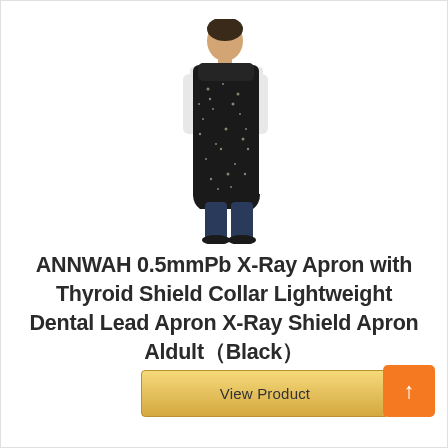[Figure (photo): A person wearing a black lead apron with thyroid shield collar, shown from head to toe against a white background. The person wears a white shirt underneath the dark textured apron.]
ANNWAH 0.5mmPb X-Ray Apron with Thyroid Shield Collar Lightweight Dental Lead Apron X-Ray Shield Apron Aldult（Black）
View Product